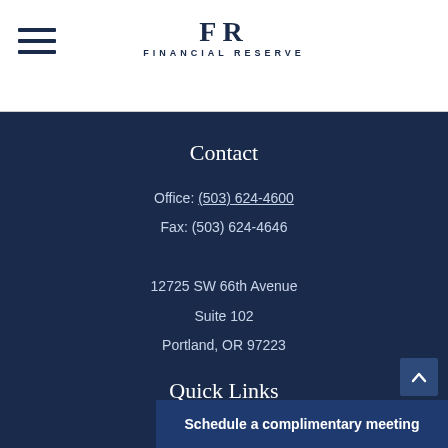[Figure (logo): Financial Reserve logo with hamburger menu icon on left, FR monogram and FINANCIAL RESERVE text centered]
Contact
Office: (503) 624-4600
Fax: (503) 624-4646
12725 SW 66th Avenue
Suite 102
Portland, OR 97223
Quick Links
Schedule a complimentary meeting